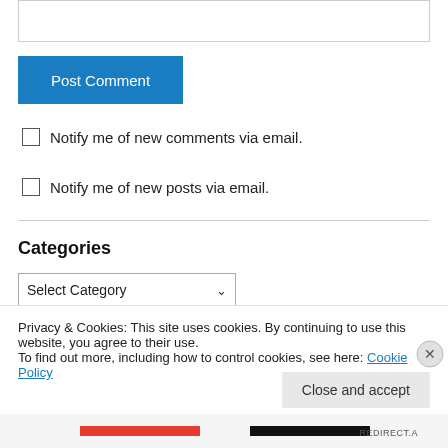[Figure (screenshot): Textarea input box border at top of page]
Post Comment
Notify me of new comments via email.
Notify me of new posts via email.
Categories
Select Category
Privacy & Cookies: This site uses cookies. By continuing to use this website, you agree to their use.
To find out more, including how to control cookies, see here: Cookie Policy
Close and accept